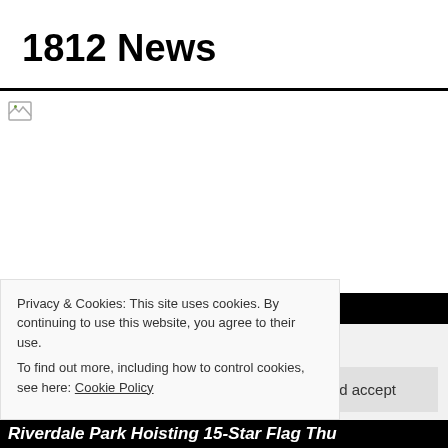1812 News
[Figure (photo): Broken image placeholder with black border top and bottom, white interior area. Broken image icon visible in top-left corner.]
Privacy & Cookies: This site uses cookies. By continuing to use this website, you agree to their use.
To find out more, including how to control cookies, see here: Cookie Policy
Close and accept
Riverdale Park Hoisting 15-Star Flag Thu